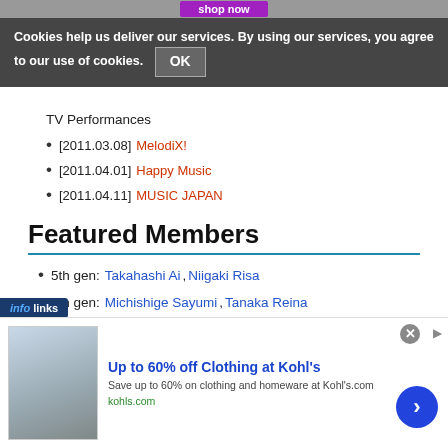[Figure (screenshot): Shop now promotional banner at top of page]
Cookies help us deliver our services. By using our services, you agree to our use of cookies. OK
TV Performances
[2011.03.08] MelodiX!
[2011.04.01] Happy Music
[2011.04.11] MUSIC JAPAN
Featured Members
5th gen: Takahashi Ai, Niigaki Risa
6th gen: Michishige Sayumi, Tanaka Reina
9th gen: Mitsui Aika
[Figure (screenshot): Advertisement banner: Up to 60% off Clothing at Kohl's - Save up to 60% on clothing and homeware at Kohl's.com - kohls.com]